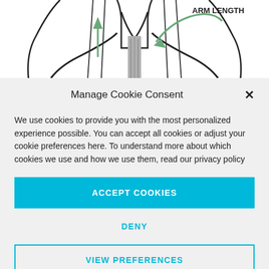[Figure (illustration): Technical diagram of a garment showing ARM LENGTH label with a green arrow pointing to the arm/shoulder area, and another green upward arrow near the collar. The figure shows a partial torso outline from the back with clothing details.]
Manage Cookie Consent
We use cookies to provide you with the most personalized experience possible. You can accept all cookies or adjust your cookie preferences here. To understand more about which cookies we use and how we use them, read our privacy policy
ACCEPT COOKIES
DENY
VIEW PREFERENCES